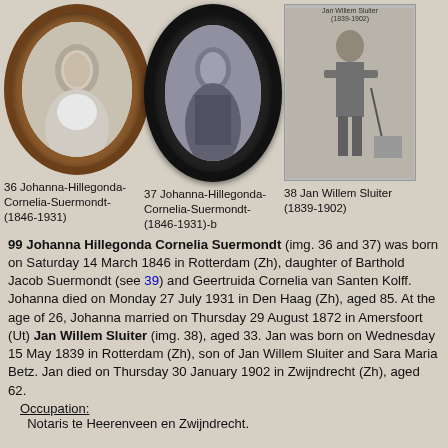[Figure (photo): Oval portrait photo of Johanna-Hillegonda-Cornelia-Suermondt in wooden brown oval frame, labeled image 36]
[Figure (photo): Oval portrait photo of Johanna-Hillegonda-Cornelia-Suermondt-b in dark ornate oval frame, labeled image 37]
[Figure (photo): Rectangular black and white photo of Jan Willem Sluiter (1839-1902) standing with cane, labeled image 38]
36 Johanna-Hillegonda-Cornelia-Suermondt-(1846-1931)
37 Johanna-Hillegonda-Cornelia-Suermondt-(1846-1931)-b
38 Jan Willem Sluiter (1839-1902)
99 Johanna Hillegonda Cornelia Suermondt (img. 36 and 37) was born on Saturday 14 March 1846 in Rotterdam (Zh), daughter of Barthold Jacob Suermondt (see 39) and Geertruida Cornelia van Santen Kolff. Johanna died on Monday 27 July 1931 in Den Haag (Zh), aged 85. At the age of 26, Johanna married on Thursday 29 August 1872 in Amersfoort (Ut) Jan Willem Sluiter (img. 38), aged 33. Jan was born on Wednesday 15 May 1839 in Rotterdam (Zh), son of Jan Willem Sluiter and Sara Maria Betz. Jan died on Thursday 30 January 1902 in Zwijndrecht (Zh), aged 62.
Occupation:
Notaris te Heerenveen en Zwijndrecht.